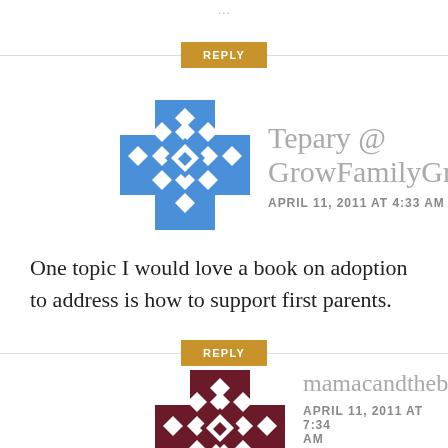…
REPLY
Tepary @ GrowFamilyGrow
APRIL 11, 2011 AT 4:33 AM
One topic I would love a book on adoption to address is how to support first parents.
REPLY
mamacandthebo…
APRIL 11, 2011 AT 7:34 AM